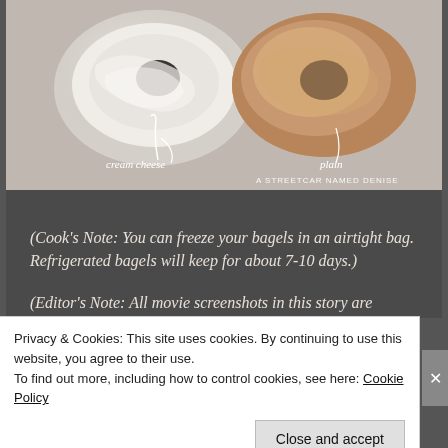[Figure (photo): Photo of two bagels on a grey surface: one with cream cheese (left, white frosted) and one plain (right, brown). Labels in white cursive text: 'cream cheese' pointing left bagel, 'plain' pointing right bagel. Bottom right watermark: 'A STREETCAR NAMED DENISE']
(Cook's Note: You can freeze your bagels in an airtight bag. Refrigerated bagels will keep for about 7-10 days.)
(Editor's Note: All movie screenshots in this story are property of Estudios Picasso, Tequila Gang, Esperanto Filmoj, Sententia Entertainment and Telecinco.)
Privacy & Cookies: This site uses cookies. By continuing to use this website, you agree to their use.
To find out more, including how to control cookies, see here: Cookie Policy
Close and accept